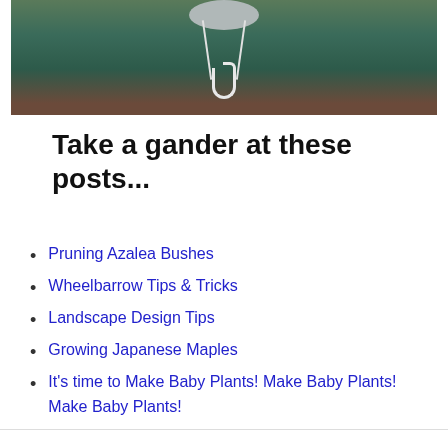[Figure (photo): Photo of a hanging planter/pot with a white hook and rope strings, sitting on what appears to be a teal/dark colored surface with green foliage in the background.]
Take a gander at these posts...
Pruning Azalea Bushes
Wheelbarrow Tips & Tricks
Landscape Design Tips
Growing Japanese Maples
It's time to Make Baby Plants! Make Baby Plants! Make Baby Plants!